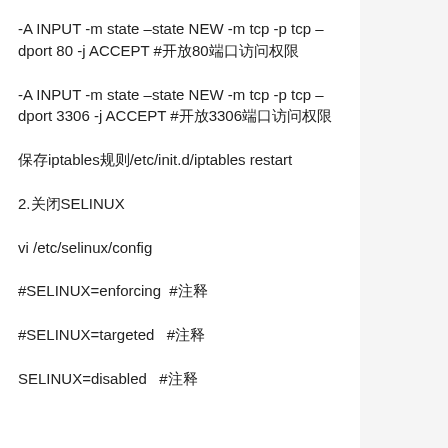-A INPUT -m state –state NEW -m tcp -p tcp –dport 80 -j ACCEPT #开放80端口访问权限
-A INPUT -m state –state NEW -m tcp -p tcp –dport 3306 -j ACCEPT #开放3306端口访问权限
保存iptables规则/etc/init.d/iptables restart
2.关闭SELINUX
vi /etc/selinux/config
#SELINUX=enforcing  #注释
#SELINUX=targeted   #注释
SELINUX=disabled   #注释